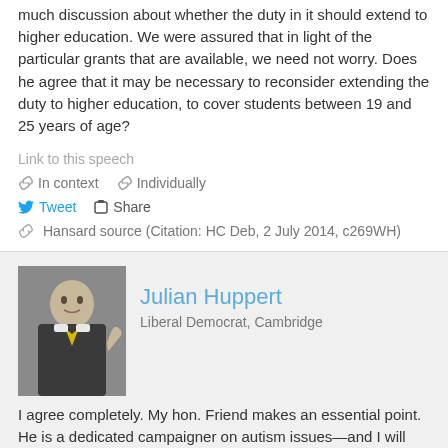much discussion about whether the duty in it should extend to higher education. We were assured that in light of the particular grants that are available, we need not worry. Does he agree that it may be necessary to reconsider extending the duty to higher education, to cover students between 19 and 25 years of age?
Link to this speech
In context   Individually
Tweet   Share
Hansard source (Citation: HC Deb, 2 July 2014, c269WH)
Julian Huppert
Liberal Democrat, Cambridge
I agree completely. My hon. Friend makes an essential point. He is a dedicated campaigner on autism issues—and I will now remove page 12 of my speech.
What sort of support will there be? I have some sympathy for the Minister's comments about the provision of basic computers. The world has changed since I was an undergraduate. Most people have a computer now, but a lot of the software that is needed simply will not